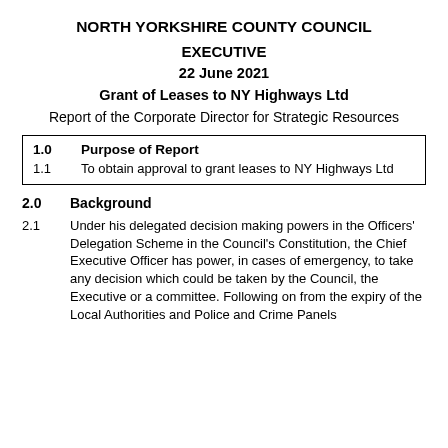NORTH YORKSHIRE COUNTY COUNCIL
EXECUTIVE
22 June 2021
Grant of Leases to NY Highways Ltd
Report of the Corporate Director for Strategic Resources
1.0  Purpose of Report
1.1  To obtain approval to grant leases to NY Highways Ltd
2.0  Background
2.1  Under his delegated decision making powers in the Officers' Delegation Scheme in the Council's Constitution, the Chief Executive Officer has power, in cases of emergency, to take any decision which could be taken by the Council, the Executive or a committee. Following on from the expiry of the Local Authorities and Police and Crime Panels